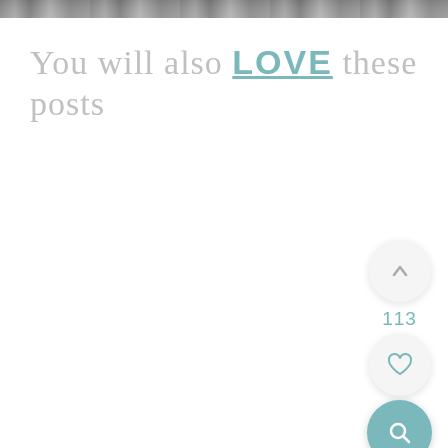[Figure (photo): Partial top strip of a photo with a website URL watermark visible]
You will also LOVE these posts
[Figure (infographic): UI overlay buttons: upward chevron circle button, count label 113, heart/favorite circle button, and teal search magnifier circle button]